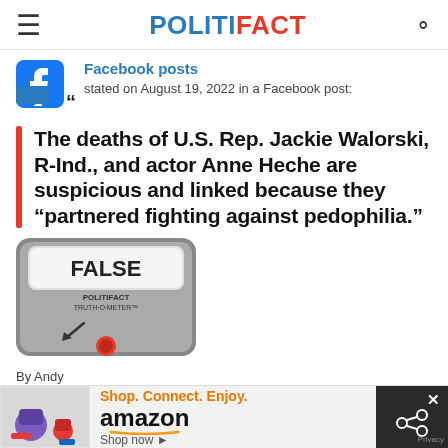POLITIFACT
Facebook posts stated on August 19, 2022 in a Facebook post:
The deaths of U.S. Rep. Jackie Walorski, R-Ind., and actor Anne Heche are suspicious and linked because they “partnered fighting against pedophilia.”
[Figure (other): PolitiFact Truth-O-Meter gauge showing FALSE rating]
By Andy
[Figure (other): Amazon advertisement: Shop. Connect. Enjoy. Shop now]